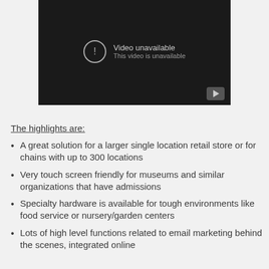[Figure (screenshot): Video player showing 'Video unavailable - This video is unavailable' message on a dark background with a play button icon in the bottom right corner.]
The highlights are:
A great solution for a larger single location retail store or for chains with up to 300 locations
Very touch screen friendly for museums and similar organizations that have admissions
Specialty hardware is available for tough environments like food service or nursery/garden centers
Lots of high level functions related to email marketing behind the scenes, integrated online